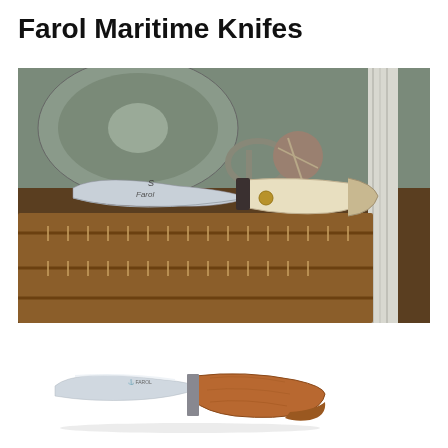Farol Maritime Knifes
[Figure (photo): A folding maritime knife with a curved stainless steel blade and a light-colored bone or wood handle resting on brown leather maritime rigging and coiled ropes. The blade is engraved with 'S Farol'.]
[Figure (photo): A small fixed-blade knife with a stainless steel blade and a brown wooden handle, shown against a white background. The blade bears the Farol brand mark.]